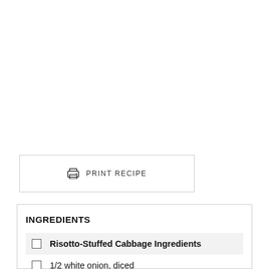PRINT RECIPE
INGREDIENTS
Risotto-Stuffed Cabbage Ingredients
1/2 white onion, diced